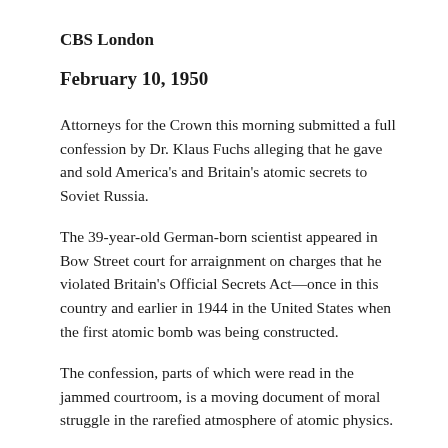CBS London
February 10, 1950
Attorneys for the Crown this morning submitted a full confession by Dr. Klaus Fuchs alleging that he gave and sold America's and Britain's atomic secrets to Soviet Russia.
The 39-year-old German-born scientist appeared in Bow Street court for arraignment on charges that he violated Britain's Official Secrets Act—once in this country and earlier in 1944 in the United States when the first atomic bomb was being constructed.
The confession, parts of which were read in the jammed courtroom, is a moving document of moral struggle in the rarefied atmosphere of atomic physics.
But the confession confirms that the Soviet Union was well-informed of America's billion dollar atomic